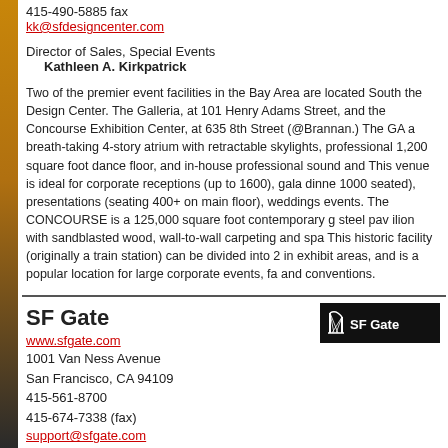415-490-5885 fax
kk@sfdesigncenter.com
Director of Sales, Special Events
Kathleen A. Kirkpatrick
Two of the premier event facilities in the Bay Area are located South the Design Center. The Galleria, at 101 Henry Adams Street, and the Concourse Exhibition Center, at 635 8th Street (@Brannan.) The GA a breath-taking 4-story atrium with retractable skylights, professional 1,200 square foot dance floor, and in-house professional sound and This venue is ideal for corporate receptions (up to 1600), gala dinne 1000 seated), presentations (seating 400+ on main floor), weddings events. The CONCOURSE is a 125,000 square foot contemporary g steel pav ilion with sandblasted wood, wall-to-wall carpeting and spa This historic facility (originally a train station) can be divided into 2 in exhibit areas, and is a popular location for large corporate events, fa and conventions.
SF Gate
[Figure (logo): SF Gate logo — black background with bridge icon and white text 'SF Gate']
www.sfgate.com
1001 Van Ness Avenue
San Francisco, CA 94109
415-561-8700
415-674-7338 (fax)
support@sfgate.com
Serving over 15 million page views per month, SF Gate is, by far, the popular site focusing on the Bay Area. Founded in 1994, SF Gate wa touring Website dedicated to reflecting the spirit of the region, the d